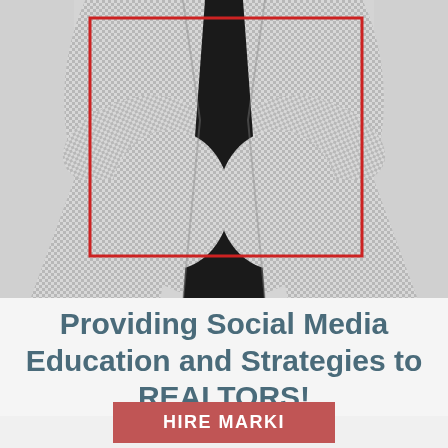[Figure (photo): A person from the chest down wearing a gray/white houndstooth or checkered blazer with arms crossed and a black top underneath. A red rectangle is overlaid on part of the image. Gray side panels flank the central image.]
Providing Social Media Education and Strategies to REALTORS!
HIRE MARKI